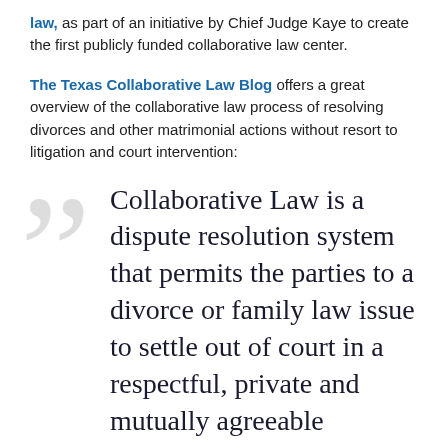law, as part of an initiative by Chief Judge Kaye to create the first publicly funded collaborative law center.
The Texas Collaborative Law Blog offers a great overview of the collaborative law process of resolving divorces and other matrimonial actions without resort to litigation and court intervention:
Collaborative Law is a dispute resolution system that permits the parties to a divorce or family law issue to settle out of court in a respectful, private and mutually agreeable manner. The parties each have their own attorneys, but they agree at the outset to not go